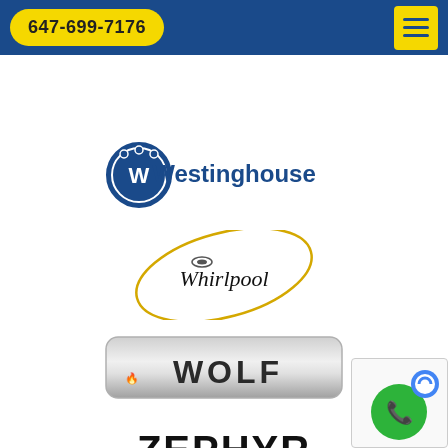647-699-7176
[Figure (logo): Westinghouse brand logo with circular W emblem and blue text]
[Figure (logo): Whirlpool brand logo with gold oval swirl and black serif text]
[Figure (logo): Wolf brand logo with silver pill-shaped background and dark text with flame icon]
[Figure (logo): Zephyr brand logo in bold black text, partially visible at bottom]
[Figure (logo): reCAPTCHA widget with phone icon in bottom right corner]